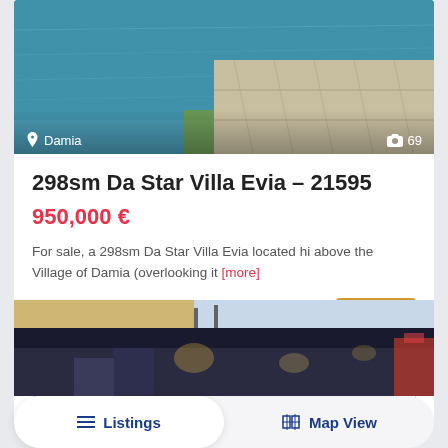[Figure (photo): Swimming pool and terrace area of Da Star Villa Evia in Damia, showing blue pool water and stone paved terrace. Location label 'Damia' visible bottom-left, camera icon with '69' photos bottom-right.]
298sm Da Star Villa Evia – 21595
950,000 €
For sale, a 298sm Da Star Villa Evia located hi above the Village of Damia (overlooking it [more]
3 (bedrooms)
4 (bathrooms)
298.00 m²
details
Dimitris Dimitrakakis
[Figure (photo): Partial bottom strip showing another property listing photo — exterior night view with lights, red-roofed building visible at right edge.]
Listings
Map View